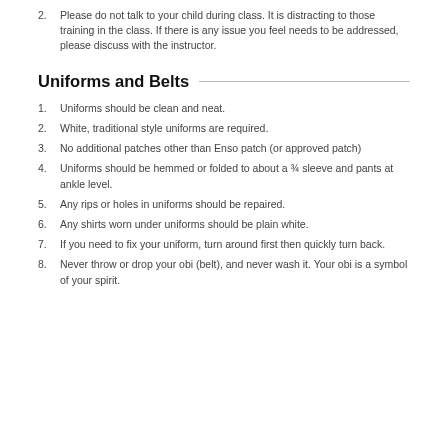2. Please do not talk to your child during class.  It is distracting to those training in the class. If there is any issue you feel needs to be addressed, please discuss with the instructor.
Uniforms and Belts
1. Uniforms should be clean and neat.
2. White, traditional style uniforms are required.
3. No additional patches other than Enso patch (or approved patch)
4. Uniforms should be hemmed or folded to about a ¾ sleeve and pants at ankle level.
5. Any rips or holes in uniforms should be repaired.
6. Any shirts worn under uniforms should be plain white.
7. If you need to fix your uniform, turn around first then quickly turn back.
8. Never throw or drop your obi (belt), and never wash it. Your obi is a symbol of your spirit.